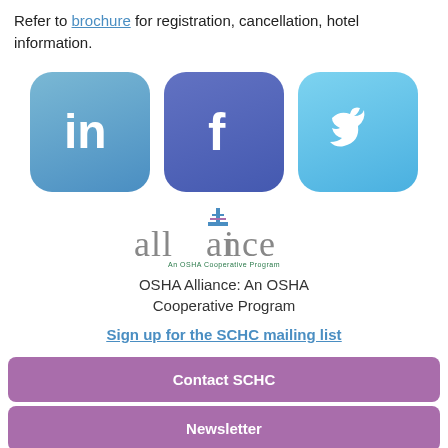Refer to brochure for registration, cancellation, hotel information.
[Figure (logo): Three social media icons: LinkedIn (blue rounded square with 'in'), Facebook (dark blue rounded square with 'f'), Twitter (light blue rounded square with bird icon)]
[Figure (logo): Alliance logo - text 'alliance' with a colorful building icon above the 'i', subtitle 'An OSHA Cooperative Program']
OSHA Alliance: An OSHA Cooperative Program
Sign up for the SCHC mailing list
Contact SCHC
Newsletter
Newsworthy